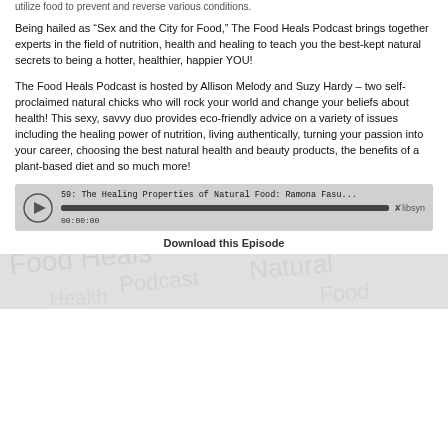utilize food to prevent and reverse various conditions.
Being hailed as “Sex and the City for Food,” The Food Heals Podcast brings together experts in the field of nutrition, health and healing to teach you the best-kept natural secrets to being a hotter, healthier, happier YOU!
The Food Heals Podcast is hosted by Allison Melody and Suzy Hardy – two self-proclaimed natural chicks who will rock your world and change your beliefs about health! This sexy, savvy duo provides eco-friendly advice on a variety of issues including the healing power of nutrition, living authentically, turning your passion into your career, choosing the best natural health and beauty products, the benefits of a plant-based diet and so much more!
[Figure (screenshot): Podcast audio player widget showing episode '59: The Healing Properties of Natural Food: Ramona Fasu...' with a progress bar and libsyn branding, time showing 00:00:00]
Download this Episode
0 Comments
Adding comments is not available at this time.